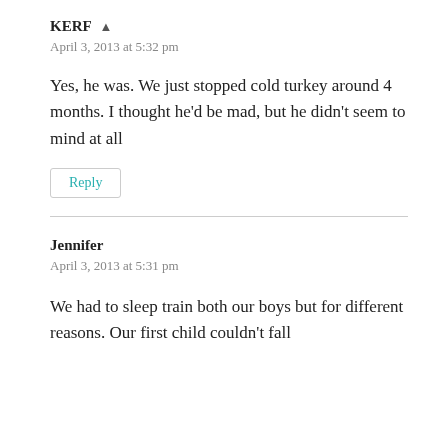KERF ▲
April 3, 2013 at 5:32 pm
Yes, he was. We just stopped cold turkey around 4 months. I thought he'd be mad, but he didn't seem to mind at all
Reply
Jennifer
April 3, 2013 at 5:31 pm
We had to sleep train both our boys but for different reasons. Our first child couldn't fall